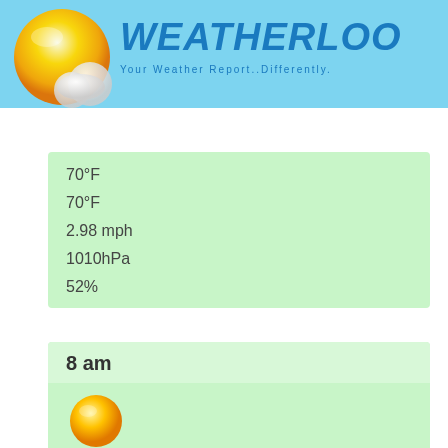WEATHERLOO - Your Weather Report..Differently.
70°F
70°F
2.98 mph
1010hPa
52%
8 am
[Figure (illustration): Sun weather icon - bright yellow circle representing sunny weather]
76°F
75°F
1.1 mph
1012hPa
42%